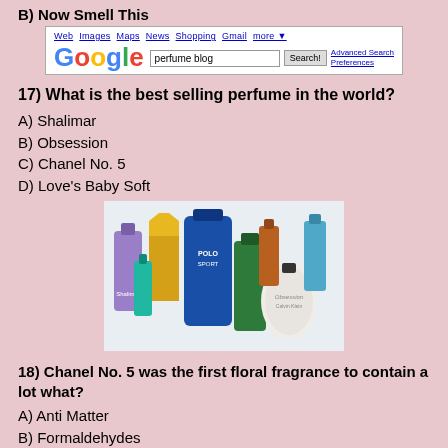B) Now Smell This
[Figure (screenshot): Google search page screenshot showing search for 'perfume blog']
17) What is the best selling perfume in the world?
A) Shalimar
B) Obsession
C) Chanel No. 5
D) Love's Baby Soft
[Figure (photo): Assorted perfume bottles including Polo Sport, Obsession, and others]
18) Chanel No. 5 was the first floral fragrance to contain a lot what?
A) Anti Matter
B) Formaldehydes
C) Aldehydes